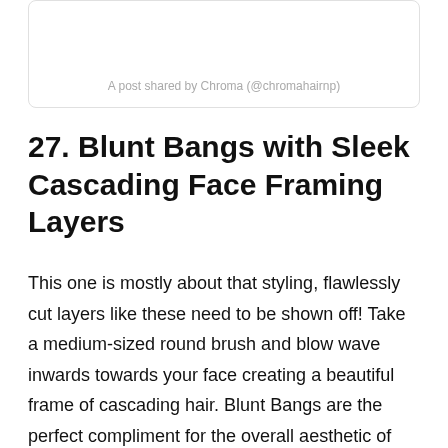A post shared by Chroma (@chromahairnp)
27. Blunt Bangs with Sleek Cascading Face Framing Layers
This one is mostly about that styling, flawlessly cut layers like these need to be shown off! Take a medium-sized round brush and blow wave inwards towards your face creating a beautiful frame of cascading hair. Blunt Bangs are the perfect compliment for the overall aesthetic of this haircut.